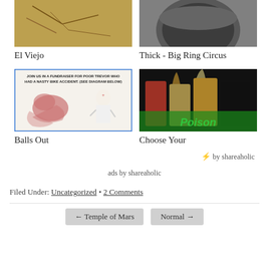[Figure (photo): Close-up photo of dry twigs or branches with warm brown tones]
[Figure (photo): Photo of a large dark metal bowl or cauldron from above]
El Viejo
Thick - Big Ring Circus
[Figure (illustration): Fundraiser poster for Trevor's bike accident with diagram of anatomy and nurse illustration, text: JOIN US IN A FUNDRAISER FOR POOR TREVOR WHO HAD A NASTY BIKE ACCIDENT. (SEE DIAGRAM BELOW)]
[Figure (photo): Photo of rock band Poison with four members in 1980s glam rock attire against green background]
Balls Out
Choose Your
⚡ by shareaholic
ads by shareaholic
Filed Under: Uncategorized • 2 Comments
← Temple of Mars
Normal →